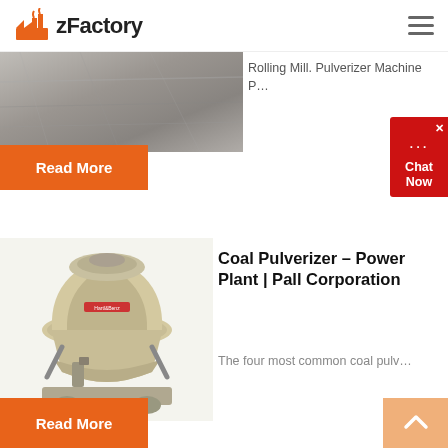zFactory
[Figure (photo): Aerial or ground-level photo of crushed stone/gravel material, grayish texture]
Rolling Mill. Pulverizer Machine P…
Read More
[Figure (photo): Industrial cone crusher / pulverizer machine in beige/tan color]
Coal Pulverizer – Power Plant | Pall Corporation
The four most common coal pulv…
Read More